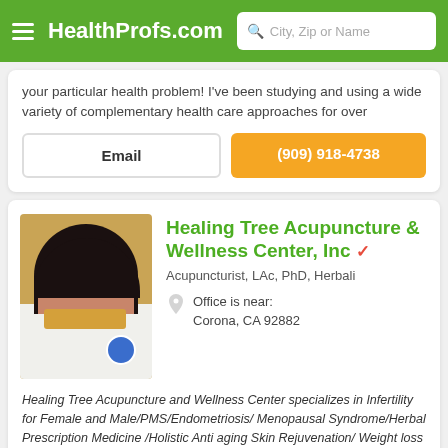HealthProfs.com
your particular health problem! I've been studying and using a wide variety of complementary health care approaches for over
Email
(909) 918-4738
Healing Tree Acupuncture & Wellness Center, Inc
Acupuncturist, LAc, PhD, Herbali
Office is near: Corona, CA 92882
[Figure (photo): Professional headshot of female acupuncturist in white coat]
Healing Tree Acupuncture and Wellness Center specializes in Infertility for Female and Male/PMS/Endometriosis/ Menopausal Syndrome/Herbal Prescription Medicine /Holistic Anti aging Skin Rejuvenation/ Weight loss / Back pain/ Sciatic pain/Pain